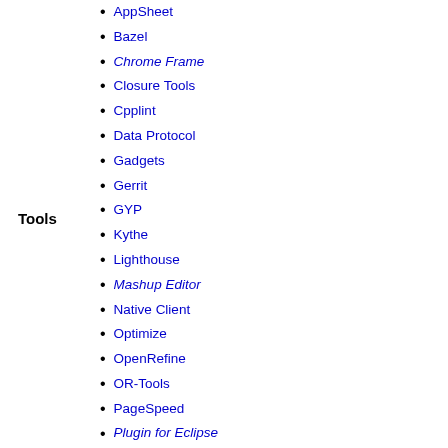Tools
AppSheet
Bazel
Chrome Frame
Closure Tools
Cpplint
Data Protocol
Gadgets
Gerrit
GYP
Kythe
Lighthouse
Mashup Editor
Native Client
Optimize
OpenRefine
OR-Tools
PageSpeed
Plugin for Eclipse
Programmable Search Engine
Public DNS
reCAPTCHA
Schema.org
Search Console
Sitemaps
Swiffy